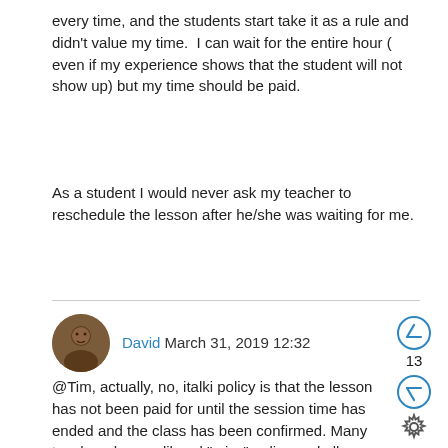every time, and the students start take it as a rule and didn't value my time.  I can wait for the entire hour ( even if my experience shows that the student will not show up) but my time should be paid.
As a student I would never ask my teacher to reschedule the lesson after he/she was waiting for me.
David March 31, 2019 12:32
@Tim, actually, no, italki policy is that the lesson has not been paid for until the session time has ended and the class has been confirmed. Many teachers have a liberal "miss" policy and allow students to reschedule without penalty and that's why it's better for everyone to cancel the session